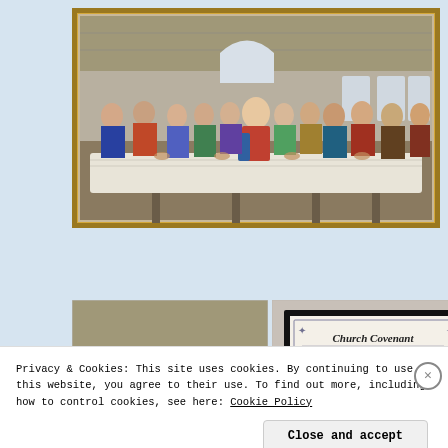[Figure (photo): Large framed painting of The Last Supper showing Jesus and his twelve apostles seated at a long table, in a room with arched windows. The painting has a golden ornate frame and is photographed on a light wall.]
[Figure (photo): Smaller photo showing a left-side detail of the same Last Supper painting on a wall.]
[Figure (photo): Framed Church Covenant document with decorative border and text, displayed on a wall.]
Privacy & Cookies: This site uses cookies. By continuing to use this website, you agree to their use. To find out more, including how to control cookies, see here: Cookie Policy
Close and accept